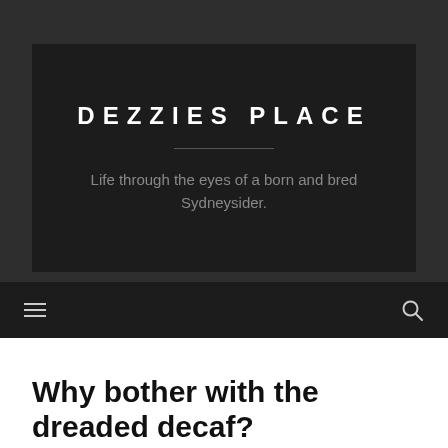DEZZIES PLACE
Life through the eyes of a born and bred Sydneysider.
Why bother with the dreaded decaf?